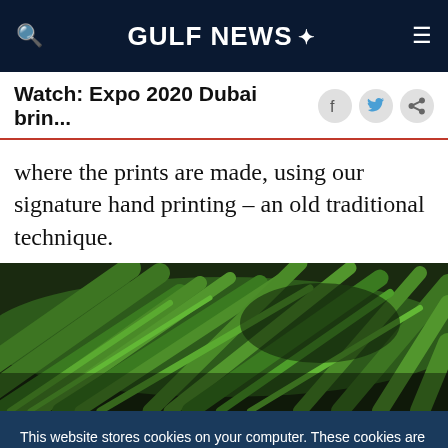GULF NEWS
Watch: Expo 2020 Dubai brin...
where the prints are made, using our signature hand printing – an old traditional technique.
[Figure (photo): Dense green tropical palm fronds / leaves photographed close-up]
This website stores cookies on your computer. These cookies are used to improve your experience and provide more personalized service to you. Both on your website and other media. To find out more about the cookies and data we use, please check out our Privacy Policy.